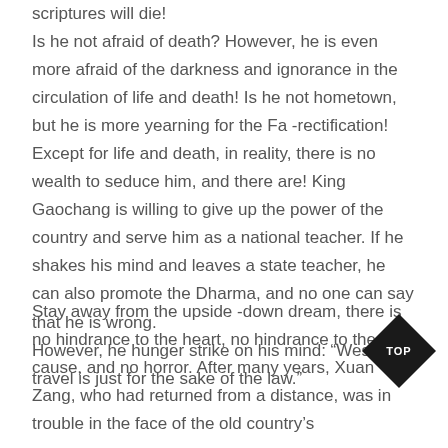scriptures will die! Is he not afraid of death? However, he is even more afraid of the darkness and ignorance in the circulation of life and death! Is he not hometown, but he is more yearning for the Fa-rectification! Except for life and death, in reality, there is no wealth to seduce him, and there are! King Gaochang is willing to give up the power of the country and serve him as a national teacher. If he shakes his mind and leaves a state teacher, he can also promote the Dharma, and no one can say that he is wrong.
However, he hunger strike on his mind: “Westward travel is just for the sake of the law.”
Stay away from the upside -down dream, there is no hindrance to the heart, no hindrance to the cause, and no horror. After many years, Xuan Zang, who had returned from a distance, was in trouble in the face of the old country’s